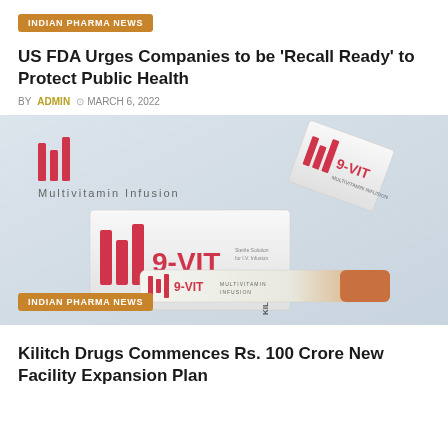INDIAN PHARMA NEWS
US FDA Urges Companies to be 'Recall Ready' to Protect Public Health
BY ADMIN  © MARCH 6, 2022
[Figure (photo): Pharmaceutical product photo showing 9-VIT Multivitamin Infusion vials and packaging by Kilitch Drugs, with III logo marks in red, on a light blue background]
INDIAN PHARMA NEWS
Kilitch Drugs Commences Rs. 100 Crore New Facility Expansion Plan